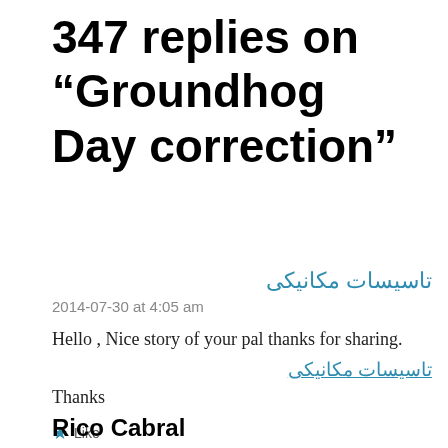347 replies on “Groundhog Day correction”
تاسیسات مکانیکی
2014-07-30 at 4:05 am
Hello , Nice story of your pal thanks for sharing.
تاسیسات مکانیکی
Thanks
★ Like
Rico Cabral